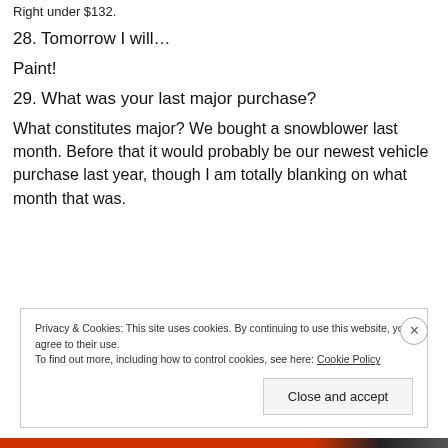Right under $132.
28. Tomorrow I will…
Paint!
29. What was your last major purchase?
What constitutes major? We bought a snowblower last month. Before that it would probably be our newest vehicle purchase last year, though I am totally blanking on what month that was.
Privacy & Cookies: This site uses cookies. By continuing to use this website, you agree to their use.
To find out more, including how to control cookies, see here: Cookie Policy
Close and accept